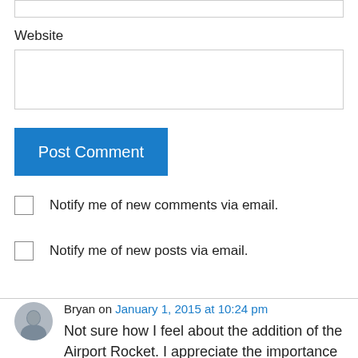Website
Post Comment
Notify me of new comments via email.
Notify me of new posts via email.
Bryan on January 1, 2015 at 10:24 pm
Not sure how I feel about the addition of the Airport Rocket. I appreciate the importance of this route, but including a single bus route on the Subway Map seems a little confusing. As it's